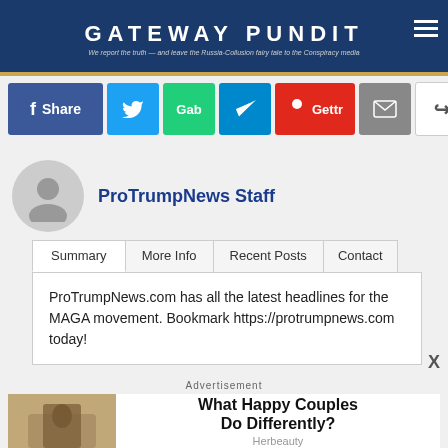GATEWAY PUNDIT
We report the truth — and leave the Russia-Collusion fairy tale to the Conspiracy media
[Figure (screenshot): Social share buttons: Facebook Share, Twitter, Gab, Telegram, Gettr, Email, Share]
[Figure (infographic): Author profile: avatar circle with person silhouette, name ProTrumpNews Staff]
ProTrumpNews Staff
[Figure (screenshot): Tab navigation: Summary (active), More Info, Recent Posts, Contact]
ProTrumpNews.com has all the latest headlines for the MAGA movement. Bookmark https://protrumpnews.com today!
X
Advertisement
What Happy Couples Do Differently?
Herbeauty